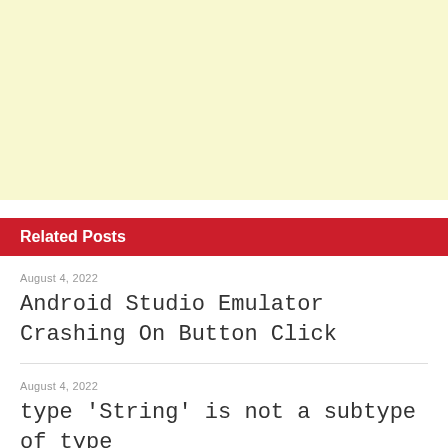[Figure (other): Light yellow advertisement banner area at the top of the page]
Related Posts
August 4, 2022
Android Studio Emulator Crashing On Button Click
August 4, 2022
type 'String' is not a subtype of type